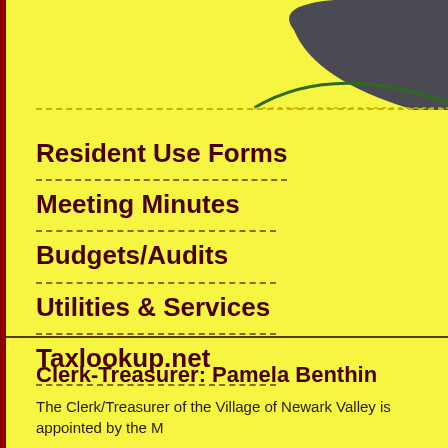[Figure (illustration): Dark gray rounded shape in the upper right corner, decorative header graphic with green curved line accent]
Resident Use Forms
Meeting Minutes
Budgets/Audits
Utilities & Services
Taxlookup.net
Clerk-Treasurer: Pamela Benthin
The Clerk/Treasurer of the Village of Newark Valley is appointed by the M